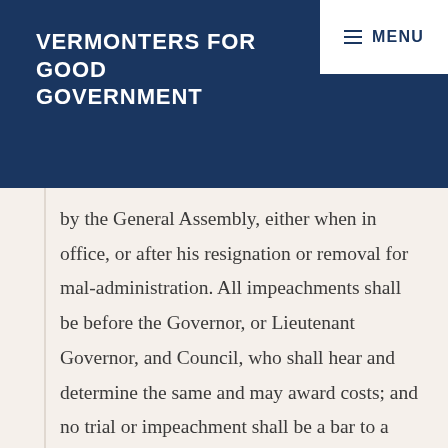VERMONTERS FOR GOOD GOVERNMENT
MENU
by the General Assembly, either when in office, or after his resignation or removal for mal-administration. All impeachments shall be before the Governor, or Lieutenant Governor, and Council, who shall hear and determine the same and may award costs; and no trial or impeachment shall be a bar to a prosecution at law.